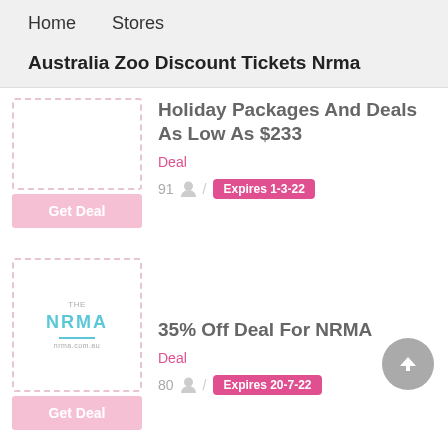Home   Stores
Australia Zoo Discount Tickets Nrma
Holiday Packages And Deals As Low As $233
Deal
91  /  Expires 1-3-22
[Figure (logo): Get Deal button (pink) for first deal]
35% Off Deal For NRMA
Deal
80  /  Expires 20-7-22
[Figure (logo): NRMA logo inside dashed thumbnail box, and Get Deal button below]